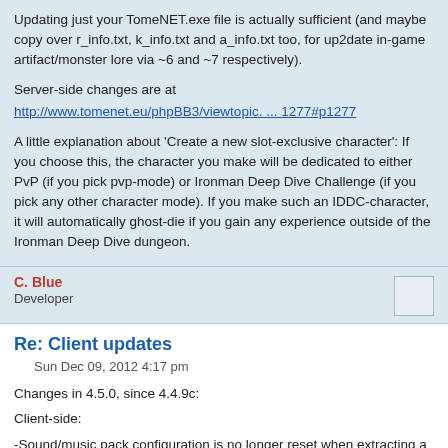Updating just your TomeNET.exe file is actually sufficient (and maybe copy over r_info.txt, k_info.txt and a_info.txt too, for up2date in-game artifact/monster lore via ~6 and ~7 respectively).
Server-side changes are at
http://www.tomenet.eu/phpBB3/viewtopic. ... 1277#p1277
A little explanation about 'Create a new slot-exclusive character': If you choose this, the character you make will be dedicated to either PvP (if you pick pvp-mode) or Ironman Deep Dive Challenge (if you pick any other character mode). If you make such an IDDC-character, it will automatically ghost-die if you gain any experience outside of the Ironman Deep Dive dungeon.
C. Blue
Developer
Re: Client updates
Sun Dec 09, 2012 4:17 pm
Changes in 4.5.0, since 4.4.9c:
Client-side:
-Sound/music pack configuration is no longer reset when extracting a new client version over an old one, so no more need for reinstalling those